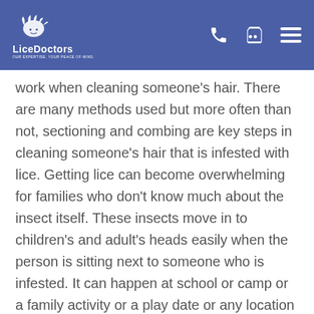LiceDoctors — Our Expertise. Your Peace of Mind.
work when cleaning someone's hair.  There are many methods used but more often than not, sectioning and combing are key steps in cleaning someone's hair that is infested with lice.  Getting lice can become overwhelming for families who don't know much about the insect itself.  These insects move in to children's and adult's heads easily when the person is sitting next to someone who is infested.  It can happen at school or camp or a family activity or a play date or any location where there are people who are in close proximity to each other.